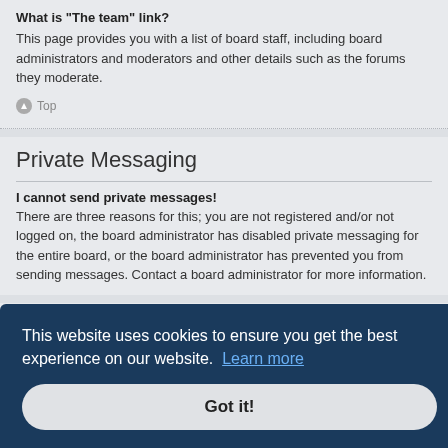What is “The team” link?
This page provides you with a list of board staff, including board administrators and moderators and other details such as the forums they moderate.
Top
Private Messaging
I cannot send private messages!
There are three reasons for this; you are not registered and/or not logged on, the board administrator has disabled private messaging for the entire board, or the board administrator has prevented you from sending messages. Contact a board administrator for more information.
This website uses cookies to ensure you get the best experience on our website. Learn more
Got it!